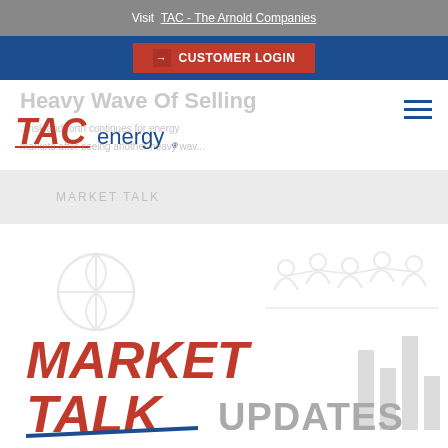Visit TAC - The Arnold Companies
Customer LOGIN
Heavy Wave Of Selling
...risk and forth continues for energy markets after seeing another heavy wav...
[Figure (logo): TAC energy logo in red and navy blue]
MARKET TALK
[Figure (illustration): Market Talk Updates graphic with red italic bold MARKET TALK text, UPDATES in gray, bar chart bars, network/people icons in gray, and a globe/pie chart icon]